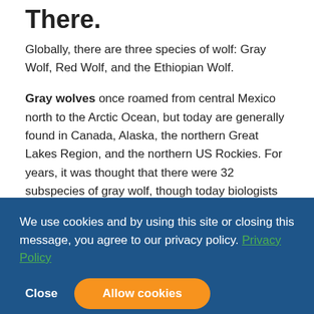There.
Globally, there are three species of wolf: Gray Wolf, Red Wolf, and the Ethiopian Wolf.
Gray wolves once roamed from central Mexico north to the Arctic Ocean, but today are generally found in Canada, Alaska, the northern Great Lakes Region, and the northern US Rockies. For years, it was thought that there were 32 subspecies of gray wolf, though today biologists generally recognize just four: Arctic, Great Plains, Mexican, and Northwestern.
Mexican Gray Wolf
Of the four subspecies, the Mexican wolf is the smallest race. All Mexican wolves today descend from just seven founding animals who escaped extermination. Their wild descendants are tucked into a cluster of high, dry mountains straddling the southern half of the Arizona-New Mexico border.
[Figure (screenshot): Cookie consent banner overlay with dark blue background. Text reads: 'We use cookies and by using this site or closing this message, you agree to our privacy policy. Privacy Policy'. Two buttons: 'Close' (text only) and 'Allow cookies' (orange rounded button).]
How many Mexican wolves are left?